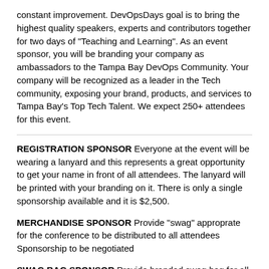constant improvement. DevOpsDays goal is to bring the highest quality speakers, experts and contributors together for two days of “Teaching and Learning”. As an event sponsor, you will be branding your company as ambassadors to the Tampa Bay DevOps Community. Your company will be recognized as a leader in the Tech community, exposing your brand, products, and services to Tampa Bay’s Top Tech Talent. We expect 250+ attendees for this event.
REGISTRATION SPONSOR Everyone at the event will be wearing a lanyard and this represents a great opportunity to get your name in front of all attendees. The lanyard will be printed with your branding on it. There is only a single sponsorship available and it is $2,500.
MERCHANDISE SPONSOR Provide “swag” approprate for the conference to be distributed to all attendees Sponsorship to be negotiated
SWAG BAG SPONSOR Provide branded swag bag for all attendees Sponsorship to be negotiated